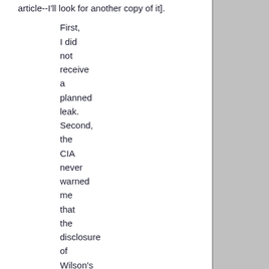article--I'll look for another copy of it].
First, I did not receive a planned leak. Second, the CIA never warned me that the disclosure of Wilson's wife working at the